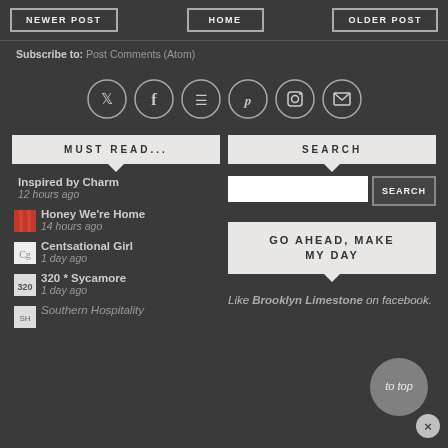NEWER POST | HOME | OLDER POST
Subscribe to: Post Comments (Atom)
[Figure (infographic): Row of 6 social media icon circles: Twitter, Facebook, RSS, Pinterest, Instagram, Email]
MUST READ...
Inspired by Charm
12 hours ago
Honey We're Home
14 hours ago
Centsational Girl
1 day ago
320 * Sycamore
1 day ago
Southern Hospitality
SEARCH
SEARCH (button)
GO AHEAD, MAKE MY DAY
Like Brooklyn Limestone on facebook.